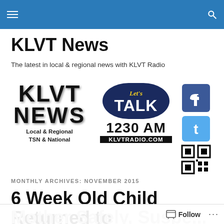KLVT News – site navigation header bar
KLVT News
The latest in local & regional news with KLVT Radio
[Figure (logo): KLVT News logo (left), Let's Talk 1230 AM KLVTRADIO.COM logo (center), Facebook, Twitter, and QR code icons (right)]
MONTHLY ARCHIVES: NOVEMBER 2015
6 Week Old Child Returned to Mother Safely, Suspec…